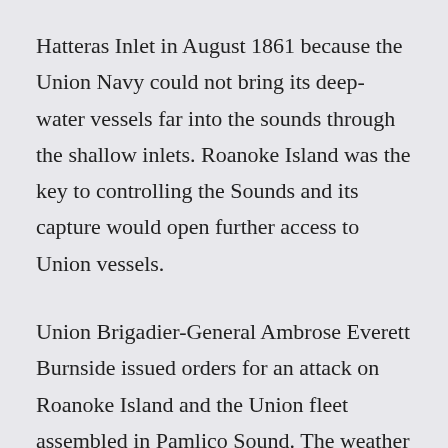Hatteras Inlet in August 1861 because the Union Navy could not bring its deep-water vessels far into the sounds through the shallow inlets. Roanoke Island was the key to controlling the Sounds and its capture would open further access to Union vessels.
Union Brigadier-General Ambrose Everett Burnside issued orders for an attack on Roanoke Island and the Union fleet assembled in Pamlico Sound. The weather in the vicinity of Cape Hatteras turned foul and the Union attack was delayed for two days by storms, while many ships continued to struggle over the shallow bar.
The Confederates remained inert. No reinforcements